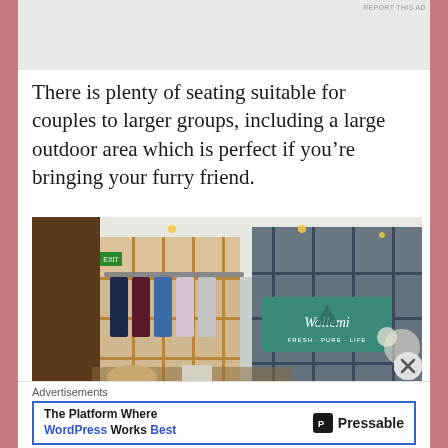[Figure (screenshot): Top partial advertisement image with gray background, cropped at top]
REPORT THIS AD
There is plenty of seating suitable for couples to larger groups, including a large outdoor area which is perfect if you’re bringing your furry friend.
[Figure (photo): Interior of a retail store/cafe called Wollemi showing clothing racks with colorful garments, shelving units with products, warm lighting, and a teal-colored brand sign]
Advertisements
[Figure (screenshot): Advertisement banner: The Platform Where WordPress Works Best — Pressable]